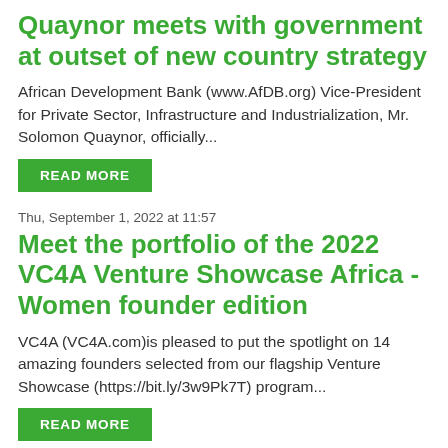Quaynor meets with government at outset of new country strategy
African Development Bank (www.AfDB.org) Vice-President for Private Sector, Infrastructure and Industrialization, Mr. Solomon Quaynor, officially...
READ MORE
Thu, September 1, 2022 at 11:57
Meet the portfolio of the 2022 VC4A Venture Showcase Africa - Women founder edition
VC4A (VC4A.com)is pleased to put the spotlight on 14 amazing founders selected from our flagship Venture Showcase (https://bit.ly/3w9Pk7T) program...
READ MORE